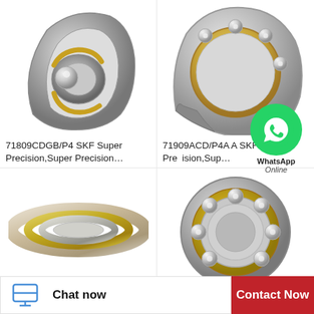[Figure (photo): SKF angular contact ball bearing 71809CDGB/P4 - cross-section view showing silver/grey metallic bearing with gold cage]
71809CDGB/P4 SKF Super Precision,Super Precision…
[Figure (photo): SKF angular contact ball bearing 71909ACD/P4A - showing multiple steel balls in gold/brass cage with silver rings]
71909ACD/P4ATBTA SKF Super Precision,Sup…
[Figure (photo): SKF super precision bearing rings - flat view showing concentric metallic rings with gold accent]
[Figure (photo): SKF deep groove ball bearing - showing multiple small steel balls in silver metallic cage]
[Figure (logo): WhatsApp green circle icon with phone handset, labeled WhatsApp Online]
Chat now
Contact Now